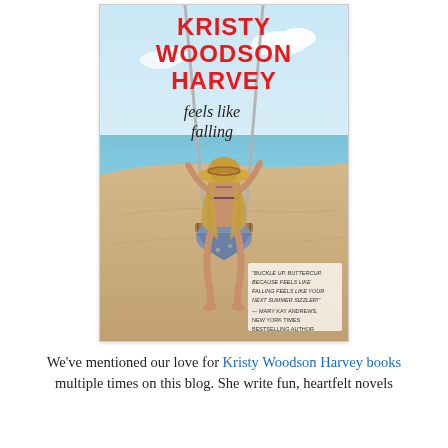[Figure (illustration): Book cover of 'Feels Like Falling' by Kristy Woodson Harvey. Shows a woman from behind sitting on a beach swing, wearing a straw hat, bikini top and floral skirt, with the ocean in the background. Author name in red block letters at top, title in dark serif font in middle, and a blurb from Mary Kay Andrews at bottom right.]
We've mentioned our love for Kristy Woodson Harvey books multiple times on this blog. She write fun, heartfelt novels